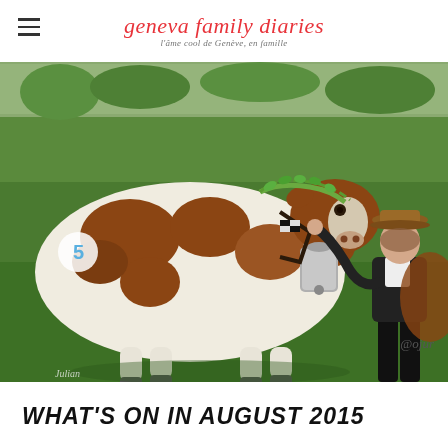geneva family diaries — l'âme cool de Genève, en famille
[Figure (photo): A decorated brown and white cow with a large cowbell and floral garland, being led by a woman in a cowboy hat and black outfit, standing on green grass at what appears to be an agricultural show. A watermark 'Julian' is visible in the lower left and '@ojur' in the lower right of the image.]
WHAT'S ON IN AUGUST 2015